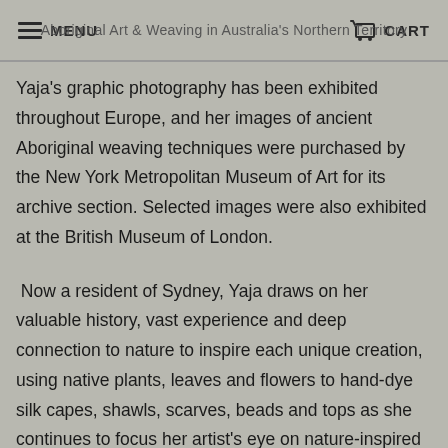MENU  Aboriginal Art & Weaving in Australia's Northern Territory  CART
Yaja's graphic photography has been exhibited throughout Europe, and her images of ancient Aboriginal weaving techniques were purchased by the New York Metropolitan Museum of Art for its archive section. Selected images were also exhibited at the British Museum of London.
Now a resident of Sydney, Yaja draws on her valuable history, vast experience and deep connection to nature to inspire each unique creation, using native plants, leaves and flowers to hand-dye silk capes, shawls, scarves, beads and tops as she continues to focus her artist's eye on nature-inspired themes through her photography and artwork.